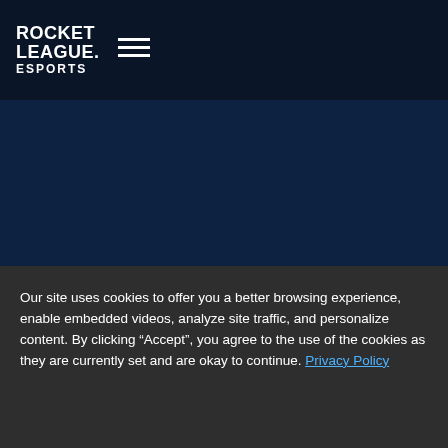ROCKET LEAGUE. ESPORTS
[Figure (illustration): Dark navy blue background area with decorative orange horizontal lines scattered across it, suggesting a content area that has not fully loaded or is obscured by a cookie consent overlay.]
Our site uses cookies to offer you a better browsing experience, enable embedded videos, analyze site traffic, and personalize content. By clicking “Accept”, you agree to the use of the cookies as they are currently set and are okay to continue. Privacy Policy